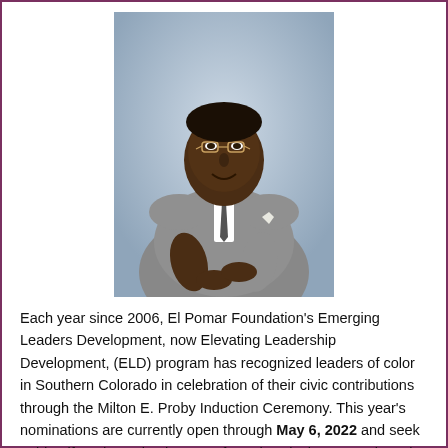[Figure (photo): Portrait photograph of a man in a gray suit with a tie and glasses, seated with arms crossed, smiling at the camera. Light blue/gray background.]
Each year since 2006, El Pomar Foundation's Emerging Leaders Development, now Elevating Leadership Development, (ELD) program has recognized leaders of color in Southern Colorado in celebration of their civic contributions through the Milton E. Proby Induction Ceremony. This year's nominations are currently open through May 6, 2022 and seek to identify a deserving honoree from the Black community to be recognized at the induction ceremony on Friday, August 19.